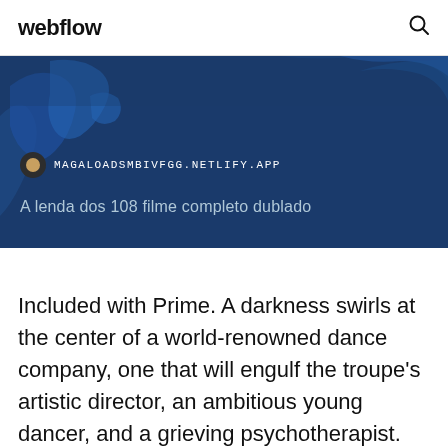webflow
[Figure (screenshot): Browser screenshot showing a dark blue map background with URL bar displaying MAGALOADSMBIVFGG.NETLIFY.APP and title text 'A lenda dos 108 filme completo dublado']
Included with Prime. A darkness swirls at the center of a world-renowned dance company, one that will engulf the troupe's artistic director, an ambitious young dancer, and a grieving psychotherapist. Some will succumb to